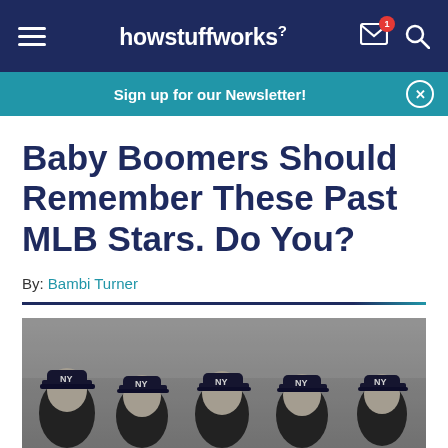howstuffworks²
Sign up for our Newsletter!
Baby Boomers Should Remember These Past MLB Stars. Do You?
By: Bambi Turner
[Figure (photo): Black and white photo of five New York Yankees baseball players wearing NY caps, posed in a row looking at camera]